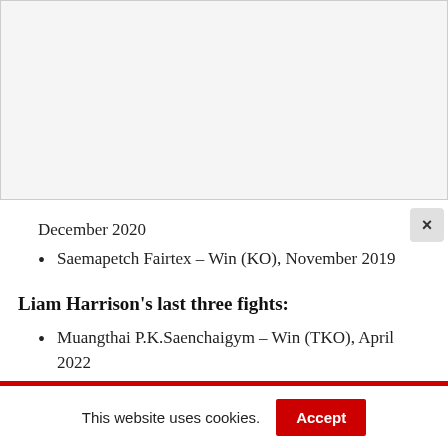December 2020
Saemapetch Fairtex – Win (KO), November 2019
Liam Harrison's last three fights:
Muangthai P.K.Saenchaigym – Win (TKO), April 2022
Braian Matyas – Win (Pts), October 2021
Khyzer Hayat – Win (Pts), March 2020
This website uses cookies.